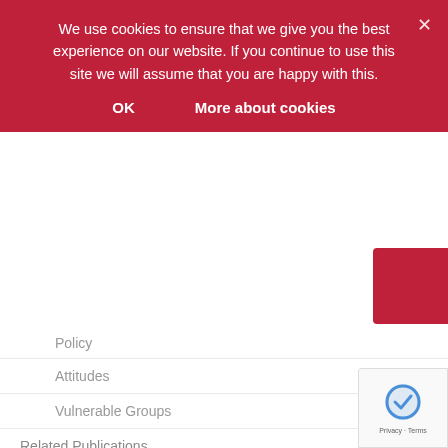We use cookies to ensure that we give you the best experience on our website. If you continue to use this site we will assume that you are happy with this.
OK    More about cookies
Policy
Attitudes
Vulnerable Groups
Related Publications
Policy
Attitudes
Vulnerable Groups
Partner Blogs
News archive by month
November 2018 (1)